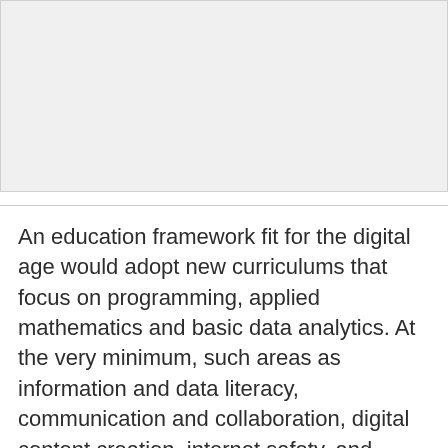[Figure (other): Gray placeholder image area at the top of the page]
An education framework fit for the digital age would adopt new curriculums that focus on programming, applied mathematics and basic data analytics. At the very minimum, such areas as information and data literacy, communication and collaboration, digital content creation, internet safety, and problem solving would be included. To achieve this widely, we need strategic policies and